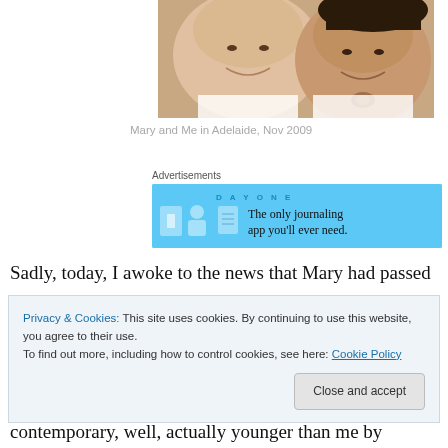[Figure (photo): Close-up photo of two smiling women side by side, both wearing white tops, one with a necklace and one with a statement pendant necklace]
Mary and Me in Adelaide, Nov 2009
Advertisements
[Figure (other): Day One journaling app advertisement banner with blue background, icons, and text: The only journaling app you'll ever need.]
Sadly, today, I awoke to the news that Mary had passed
Privacy & Cookies: This site uses cookies. By continuing to use this website, you agree to their use.
To find out more, including how to control cookies, see here: Cookie Policy
contemporary, well, actually younger than me by several